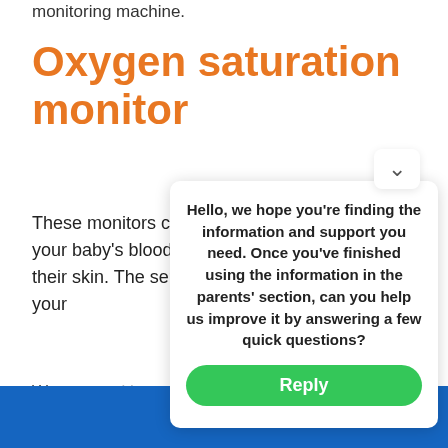monitoring machine.
Oxygen saturation monitor
These monitors check the amount of oxygen in your baby's blood, by shining a light through their skin. The sensors are strapped gently to your
We use cookies to ensure that you have the best experience and support you need. Find out more
Hello, we hope you're finding the information and support you need. Once you've finished using the information in the parents' section, can you help us improve it by answering a few quick questions?